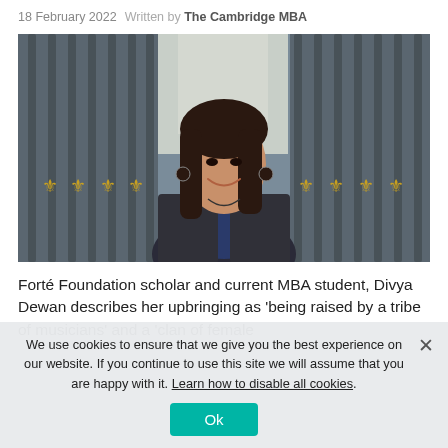18 February 2022   Written by The Cambridge MBA
[Figure (photo): Portrait photo of Divya Dewan, a young woman with long dark hair, smiling, wearing a dark blazer and blue top, standing in front of ornate iron gates with gold decorative elements.]
Forté Foundation scholar and current MBA student, Divya Dewan describes her upbringing as 'being raised by a tribe of musicians' and a 'clan of female
We use cookies to ensure that we give you the best experience on our website. If you continue to use this site we will assume that you are happy with it. Learn how to disable all cookies.
Ok